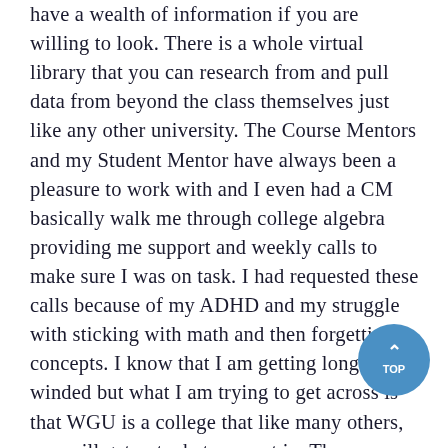have a wealth of information if you are willing to look. There is a whole virtual library that you can research from and pull data from beyond the class themselves just like any other university. The Course Mentors and my Student Mentor have always been a pleasure to work with and I even had a CM basically walk me through college algebra providing me support and weekly calls to make sure I was on task. I had requested these calls because of my ADHD and my struggle with sticking with math and then forgetting concepts. I know that I am getting long winded but what I am trying to get across is that WGU is a college that like many others, you will get out what you put in. There are numerous resources including a dedicated math and writing center as well as tutoring services that you do not have to pay for through Wyzant if you are struggling. I consider myself lucky and have never had to retake a test and have only had to do one revision for a paper because I had accidentally deleted a little section of my writing and